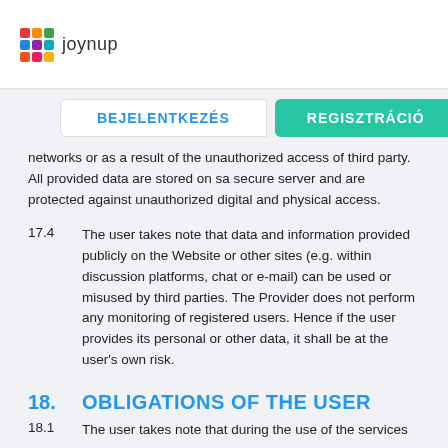joynup
networks or as a result of the unauthorized access of third party. All provided data are stored on sa secure server and are protected against unauthorized digital and physical access.
17.4  The user takes note that data and information provided publicly on the Website or other sites (e.g. within discussion platforms, chat or e-mail) can be used or misused by third parties. The Provider does not perform any monitoring of registered users. Hence if the user provides its personal or other data, it shall be at the user's own risk.
18.    OBLIGATIONS OF THE USER
18.1  The user takes note that during the use of the services